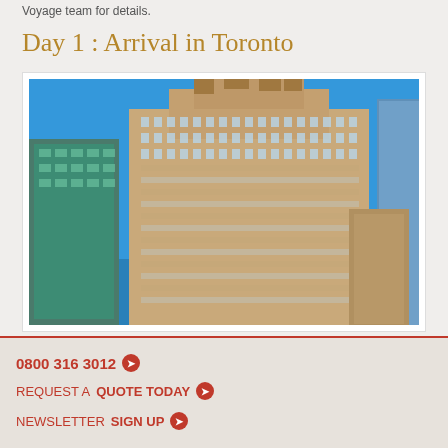Voyage team for details.
Day 1 : Arrival in Toronto
[Figure (photo): Photograph of a large historic hotel building in Toronto against a bright blue sky, with surrounding modern buildings visible.]
0800 316 3012
REQUEST A QUOTE TODAY
NEWSLETTER SIGN UP